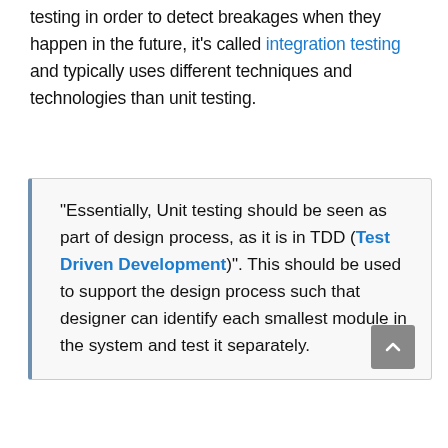testing in order to detect breakages when they happen in the future, it's called integration testing and typically uses different techniques and technologies than unit testing.
"Essentially, Unit testing should be seen as part of design process, as it is in TDD (Test Driven Development)". This should be used to support the design process such that designer can identify each smallest module in the system and test it separately.